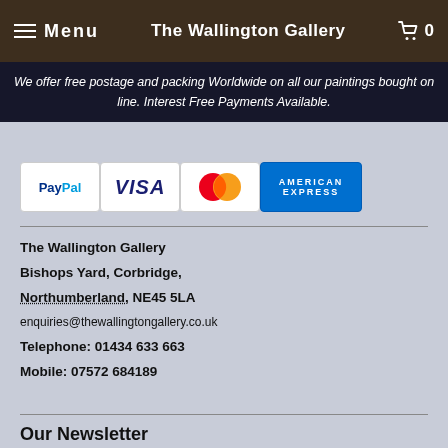Menu  The Wallington Gallery  0
We offer free postage and packing Worldwide on all our paintings bought on line. Interest Free Payments Available.
[Figure (other): Payment method logos: PayPal, VISA, MasterCard, American Express]
The Wallington Gallery
Bishops Yard, Corbridge,
Northumberland, NE45 5LA
enquiries@thewallingtongallery.co.uk
Telephone: 01434 633 663
Mobile: 07572 684189
Our Newsletter